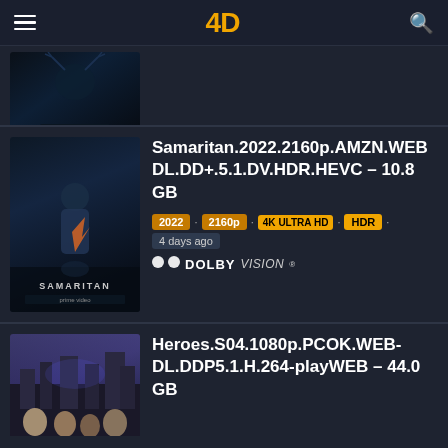4D — hamburger menu, logo, search icon
[Figure (screenshot): Partial movie poster thumbnail at top (cut off), dark blue sci-fi image]
[Figure (screenshot): Samaritan 2022 movie poster — man in dark coat, blue tones, title 'SAMARITAN' at bottom]
Samaritan.2022.2160p.AMZN.WEBDL.DD+.5.1.DV.HDR.HEVC – 10.8 GB
2022 · 2160p · 4K ULTRA HD · HDR · 4 days ago · DOLBY VISION
[Figure (screenshot): Heroes S04 movie/show poster — group of characters, fantasy setting]
Heroes.S04.1080p.PCOK.WEB-DL.DDP5.1.H.264-playWEB – 44.0 GB